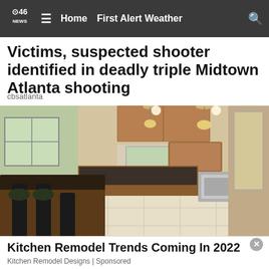CBS46 News | Home | First Alert Weather
Victims, suspected shooter identified in deadly triple Midtown Atlanta shooting
cbsatlanta
[Figure (photo): A modern kitchen with wooden cabinets, dark granite island countertop, bar stools, stainless steel appliances, and tile floor. Multiple windows let in natural light.]
Kitchen Remodel Trends Coming In 2022
Kitchen Remodel Designs | Sponsored